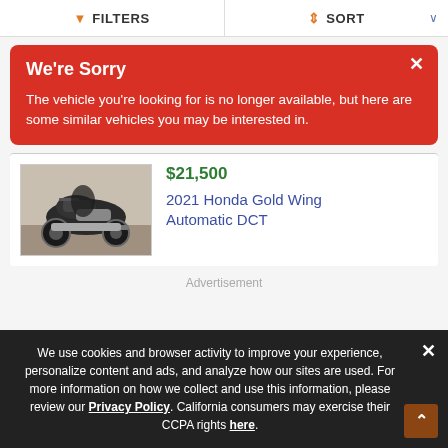FILTERS   SORT
We're Sorry
The vehicle you're looking for is no longer available, but here are some similar vehicles you may be interested in.
[Figure (photo): Photo of a 2021 Honda Gold Wing motorcycle, dark colored, viewed from the side in an indoor setting]
$21,500
2021 Honda Gold Wing Automatic DCT
Advertisement
We use cookies and browser activity to improve your experience, personalize content and ads, and analyze how our sites are used. For more information on how we collect and use this information, please review our Privacy Policy. California consumers may exercise their CCPA rights here.